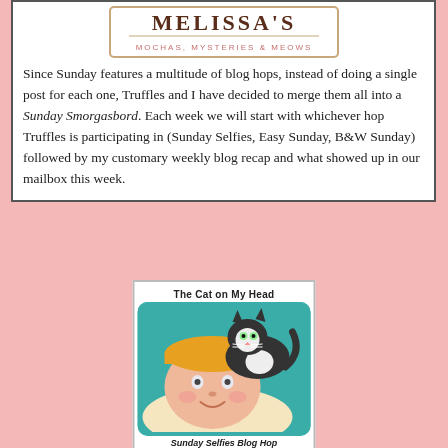[Figure (logo): Melissa's Mochas, Mysteries & Meows blog logo — decorative text logo with stylized lettering]
Since Sunday features a multitude of blog hops, instead of doing a single post for each one, Truffles and I have decided to merge them all into a Sunday Smorgasbord. Each week we will start with whichever hop Truffles is participating in (Sunday Selfies, Easy Sunday, B&W Sunday) followed by my customary weekly blog recap and what showed up in our mailbox this week.
[Figure (illustration): The Cat on My Head Sunday Selfies Blog Hop badge — cartoon illustration of a person lying down with a black and white cat resting on their head, teal rounded rectangle background]